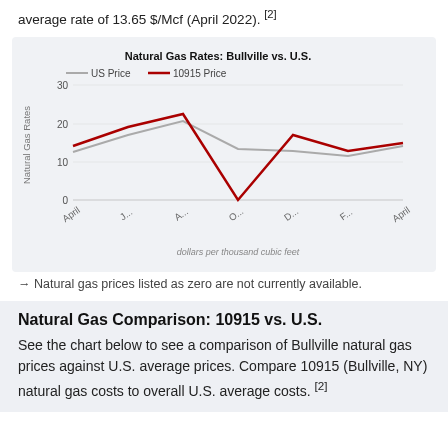average rate of 13.65 $/Mcf (April 2022). [2]
[Figure (line-chart): Natural Gas Rates: Bullville vs. U.S.]
→ Natural gas prices listed as zero are not currently available.
Natural Gas Comparison: 10915 vs. U.S.
See the chart below to see a comparison of Bullville natural gas prices against U.S. average prices. Compare 10915 (Bullville, NY) natural gas costs to overall U.S. average costs. [2]